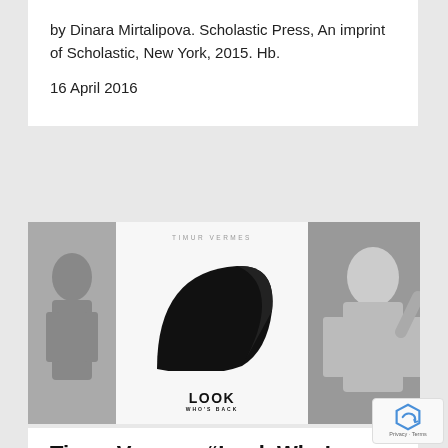by Dinara Mirtalipova. Scholastic Press, An imprint of Scholastic, New York, 2015. Hb.
16 April 2016
[Figure (photo): Image strip showing two photos of Adolf Hitler alongside the book cover of 'Look Who's Back' by Timur Vermes. The book cover features a stylized black silhouette of a comb-over hair on white background with the title 'LOOK WHO'S BACK'. The photos show Hitler in military uniform.]
Timur Vermes, “Look Who’s Back”